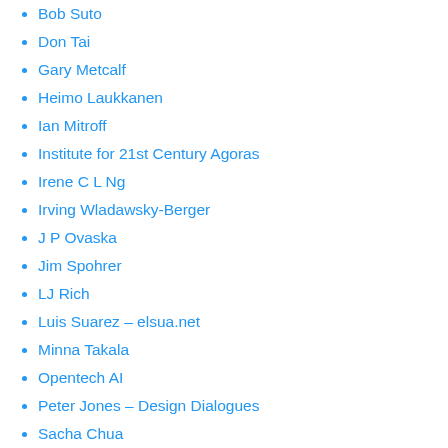Bob Suto
Don Tai
Gary Metcalf
Heimo Laukkanen
Ian Mitroff
Institute for 21st Century Agoras
Irene C L Ng
Irving Wladawsky-Berger
J P Ovaska
Jim Spohrer
LJ Rich
Luis Suarez – elsua.net
Minna Takala
Opentech AI
Peter Jones – Design Dialogues
Sacha Chua
Stuart Candy: the sceptical futuryst
Systems Thinking Ontario
Web Personas